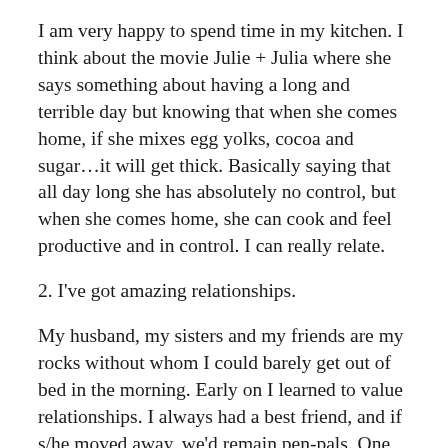I am very happy to spend time in my kitchen. I think about the movie Julie + Julia where she says something about having a long and terrible day but knowing that when she comes home, if she mixes egg yolks, cocoa and sugar…it will get thick. Basically saying that all day long she has absolutely no control, but when she comes home, she can cook and feel productive and in control. I can really relate.
2. I've got amazing relationships.
My husband, my sisters and my friends are my rocks without whom I could barely get out of bed in the morning. Early on I learned to value relationships. I always had a best friend, and if s/he moved away, we'd remain pen-pals. One friend, Mandy, moved to Minnesota after kindergarten and we wrote letters until well after high school. The trouble is, her last